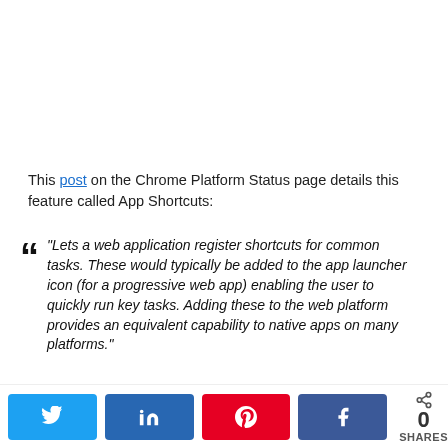[Figure (other): Blank/white advertisement or image placeholder at top of page]
This post on the Chrome Platform Status page details this feature called App Shortcuts:
"Lets a web application register shortcuts for common tasks. These would typically be added to the app launcher icon (for a progressive web app) enabling the user to quickly run key tasks. Adding these to the web platform provides an equivalent capability to native apps on many platforms."
0 SHARES